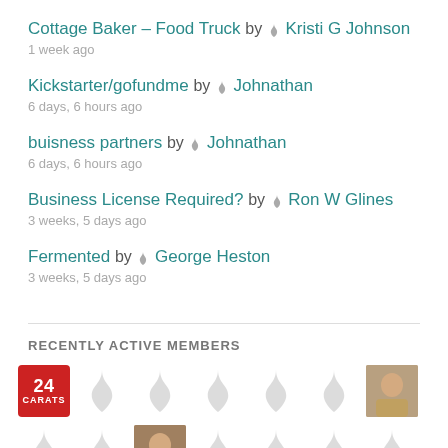Cottage Baker – Food Truck by 🔥 Kristi G Johnson
1 week ago
Kickstarter/gofundme by 🔥 Johnathan
6 days, 6 hours ago
buisness partners by 🔥 Johnathan
6 days, 6 hours ago
Business License Required? by 🔥 Ron W Glines
3 weeks, 5 days ago
Fermented by 🔥 George Heston
3 weeks, 5 days ago
RECENTLY ACTIVE MEMBERS
[Figure (other): Row of recently active member avatars: a red 24 Carats badge, five flame/droplet placeholder icons, and one photo of a young man. A second partial row below with more placeholder flame icons and one photo.]